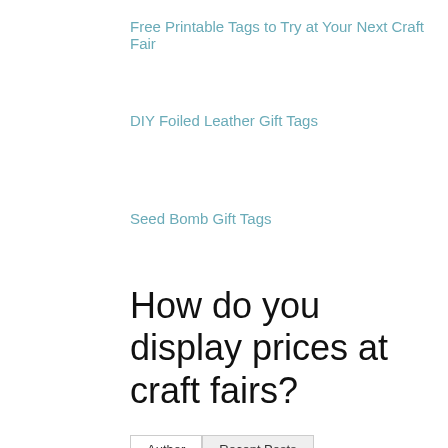Free Printable Tags to Try at Your Next Craft Fair
DIY Foiled Leather Gift Tags
Seed Bomb Gift Tags
How do you display prices at craft fairs?
Author | Recent Posts
Maggie